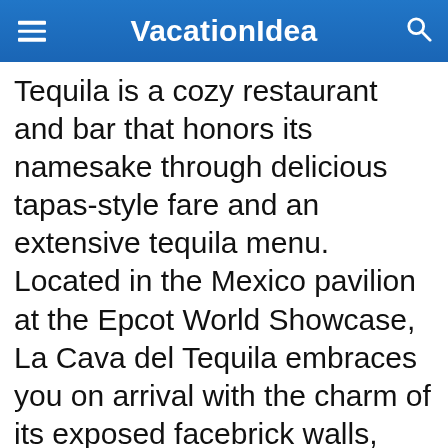VacationIdea
Tequila is a cozy restaurant and bar that honors its namesake through delicious tapas-style fare and an extensive tequila menu. Located in the Mexico pavilion at the Epcot World Showcase, La Cava del Tequila embraces you on arrival with the charm of its exposed facebrick walls, subtle low lighting and deep-set red leather seats that echo the warmth of a typical hacienda. La Cava del Tequila offers more than 100 examples of tequila to choose from, ranging from intense blancos to smooth añejos, as well as a 'quick taste' tapas